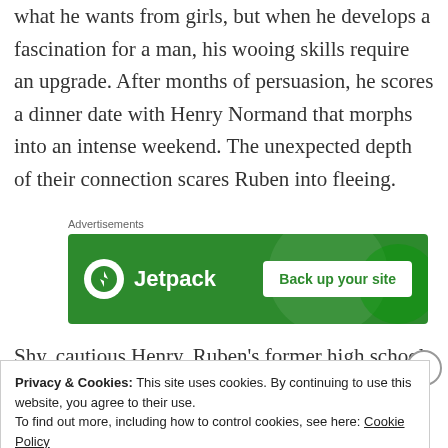what he wants from girls, but when he develops a fascination for a man, his wooing skills require an upgrade. After months of persuasion, he scores a dinner date with Henry Normand that morphs into an intense weekend. The unexpected depth of their connection scares Ruben into fleeing.
[Figure (other): Jetpack advertisement banner with green background, Jetpack logo on left, and 'Back up your site' button on right]
Shy, cautious Henry, Ruben's former high school history
Privacy & Cookies: This site uses cookies. By continuing to use this website, you agree to their use.
To find out more, including how to control cookies, see here: Cookie Policy
Close and accept